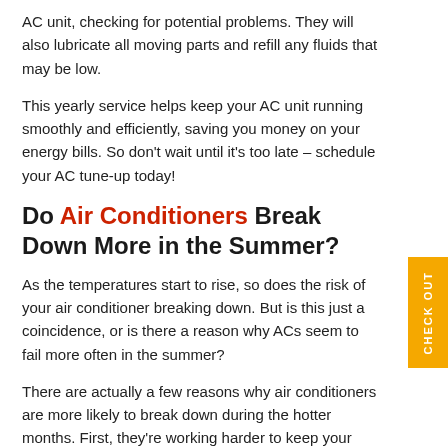AC unit, checking for potential problems. They will also lubricate all moving parts and refill any fluids that may be low.
This yearly service helps keep your AC unit running smoothly and efficiently, saving you money on your energy bills. So don't wait until it's too late – schedule your AC tune-up today!
Do Air Conditioners Break Down More in the Summer?
As the temperatures start to rise, so does the risk of your air conditioner breaking down. But is this just a coincidence, or is there a reason why ACs seem to fail more often in the summer?
There are actually a few reasons why air conditioners are more likely to break down during the hotter months. First, they're working harder to keep your home cool, which pu… additional strain on the system. To name a few…